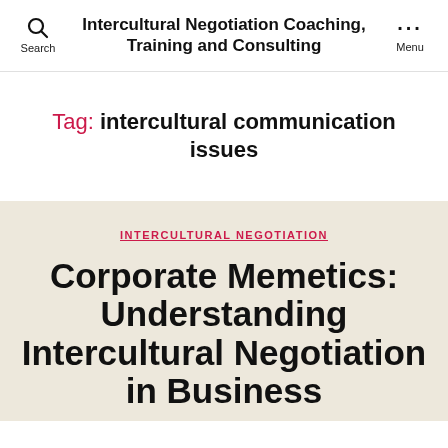Intercultural Negotiation Coaching, Training and Consulting
Tag: intercultural communication issues
INTERCULTURAL NEGOTIATION
Corporate Memetics: Understanding Intercultural Negotiation in Business